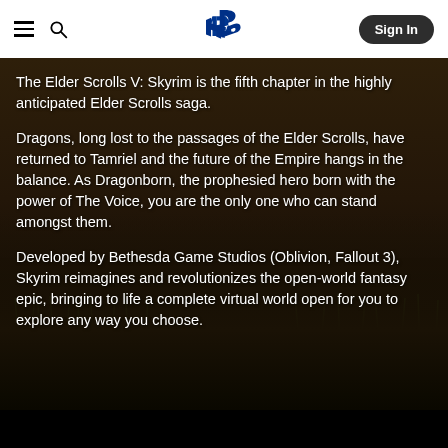PlayStation Store header with hamburger menu, search icon, PlayStation logo, and Sign In button
[Figure (photo): Dark outdoor scene background with grass, ground, and foliage in dim brownish lighting, serving as background for Skyrim game description]
The Elder Scrolls V: Skyrim is the fifth chapter in the highly anticipated Elder Scrolls saga.
Dragons, long lost to the passages of the Elder Scrolls, have returned to Tamriel and the future of the Empire hangs in the balance. As Dragonborn, the prophesied hero born with the power of The Voice, you are the only one who can stand amongst them.
Developed by Bethesda Game Studios (Oblivion, Fallout 3), Skyrim reimagines and revolutionizes the open-world fantasy epic, bringing to life a complete virtual world open for you to explore any way you choose.